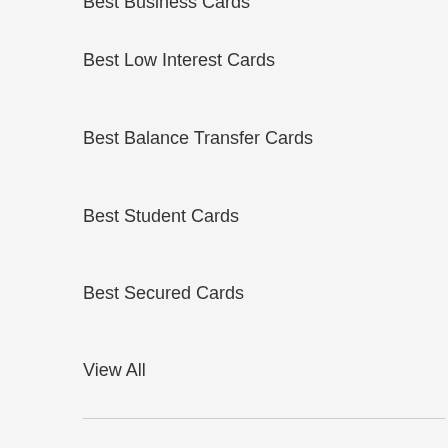Best Low Interest Cards
Best Balance Transfer Cards
Best Student Cards
Best Secured Cards
View All
Compare
Comparison Tools Overview
Compare Credit Cards
Compare Mortgages
Compare Crypto Exchanges
Compare Robo-Advisors